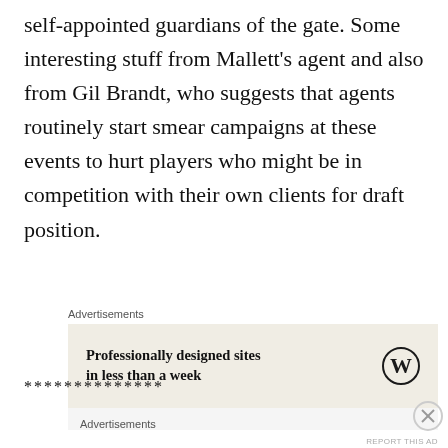self-appointed guardians of the gate. Some interesting stuff from Mallett's agent and also from Gil Brandt, who suggests that agents routinely start smear campaigns at these events to hurt players who might be in competition with their own clients for draft position.
Advertisements
[Figure (screenshot): WordPress advertisement: 'Professionally designed sites in less than a week' with WordPress logo]
**************
Advertisements